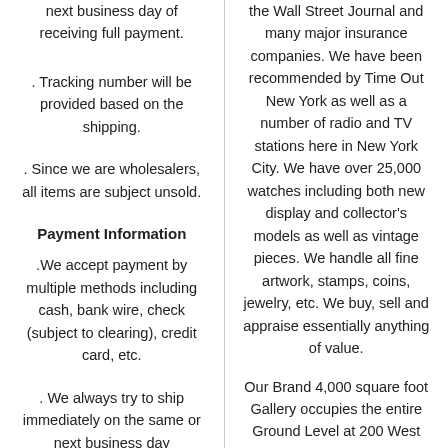next business day of receiving full payment.
. Tracking number will be provided based on the shipping.
. Since we are wholesalers, all items are subject unsold.
Payment Information
.We accept payment by multiple methods including cash, bank wire, check (subject to clearing), credit card, etc.
. We always try to ship immediately on the same or next business day
the Wall Street Journal and many major insurance companies. We have been recommended by Time Out New York as well as a number of radio and TV stations here in New York City. We have over 25,000 watches including both new display and collector's models as well as vintage pieces. We handle all fine artwork, stamps, coins, jewelry, etc. We buy, sell and appraise essentially anything of value.
Our Brand 4,000 square foot Gallery occupies the entire Ground Level at 200 West 57th Street in New York directly across from the world famous Carnegie Hall. The Russian Tea